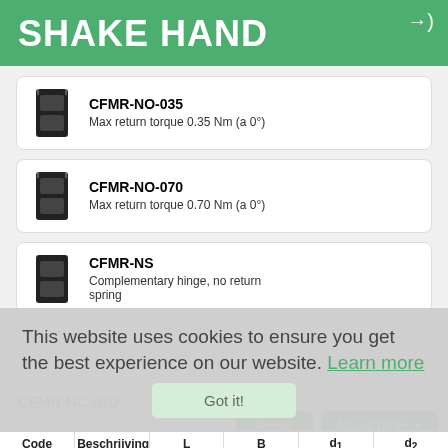SHAKE HAND
CFMR-NO-035
Max return torque 0.35 Nm (a 0°)
CFMR-NO-070
Max return torque 0.70 Nm (a 0°)
CFMR-NS
Complementary hinge, no return spring
This website uses cookies to ensure you get the best experience on our website. Learn more
CFMR-NC-070
| Code | Beschrijving | L | B | d1 | d2 |
| --- | --- | --- | --- | --- | --- |